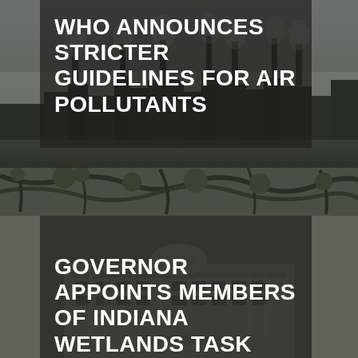[Figure (photo): Dark industrial skyline with factory smokestacks emitting pollution, grayish atmospheric haze, top half of page]
WHO ANNOUNCES STRICTER GUIDELINES FOR AIR POLLUTANTS
[Figure (photo): Dark tree branches and foliage framing the middle strip of the page]
[Figure (photo): Government building (Indiana State Capitol or similar classical architecture) in dark overlay, bottom half of page]
GOVERNOR APPOINTS MEMBERS OF INDIANA WETLANDS TASK FORCE